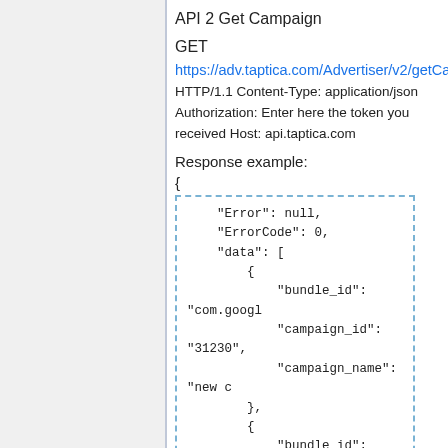API 2 Get Campaign
GET
https://adv.taptica.com/Advertiser/v2/getCampai...
HTTP/1.1 Content-Type: application/json Authorization: Enter here the token you received Host: api.taptica.com
Response example:
{
"Error": null,
"ErrorCode": 0,
"data": [
    {
        "bundle_id": "com.googl
        "campaign_id": "31230",
        "campaign_name": "new c
    },
    {
        "bundle_id": "com.googl
        "campaign_id": "31231",
        "campaign_name": "Test
    },
    {